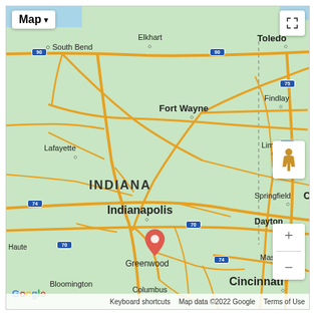[Figure (map): Google Maps screenshot showing Indiana and surrounding region. A red location pin is placed near Greenwood, Indiana (just south of Indianapolis). Cities shown include South Bend, Elkhart, Fort Wayne, Lafayette, Indianapolis, Greenwood, Bloomington, Columbus, Cincinnati, Dayton, Springfield, Lima, Findlay, Toledo, Mason. Interstate routes visible: I-90, I-74, I-70, I-75. Map controls visible: map type selector top-left, fullscreen button top-right, pegman and zoom +/- controls on right. Google logo bottom-left with attribution 'Keyboard shortcuts | Map data ©2022 Google | Terms of Use'.]